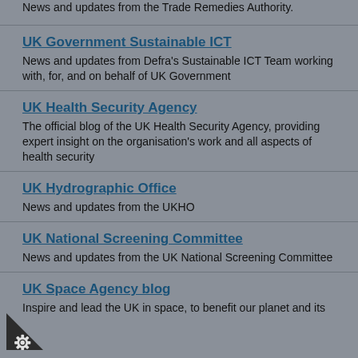News and updates from the Trade Remedies Authority.
UK Government Sustainable ICT
News and updates from Defra's Sustainable ICT Team working with, for, and on behalf of UK Government
UK Health Security Agency
The official blog of the UK Health Security Agency, providing expert insight on the organisation's work and all aspects of health security
UK Hydrographic Office
News and updates from the UKHO
UK National Screening Committee
News and updates from the UK National Screening Committee
UK Space Agency blog
Inspire and lead the UK in space, to benefit our planet and its